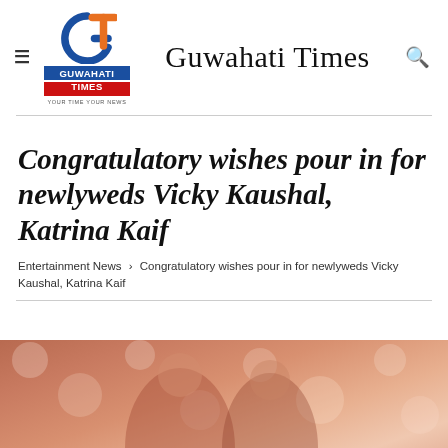Guwahati Times
Congratulatory wishes pour in for newlyweds Vicky Kaushal, Katrina Kaif
Entertainment News › Congratulatory wishes pour in for newlyweds Vicky Kaushal, Katrina Kaif
[Figure (photo): Wedding photo of Vicky Kaushal and Katrina Kaif, showing the couple in traditional wedding attire with floral backdrop]